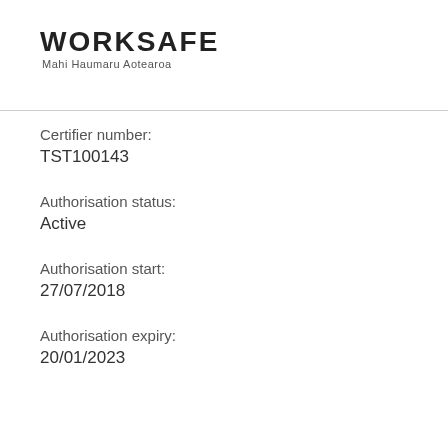WORKSAFE
Mahi Haumaru Aotearoa
Certifier number:
TST100143
Authorisation status:
Active
Authorisation start:
27/07/2018
Authorisation expiry:
20/01/2023